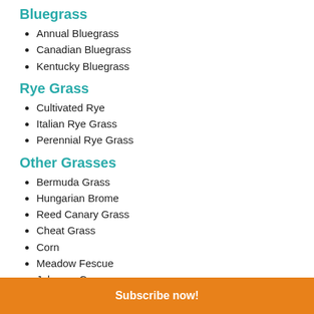Bluegrass
Annual Bluegrass
Canadian Bluegrass
Kentucky Bluegrass
Rye Grass
Cultivated Rye
Italian Rye Grass
Perennial Rye Grass
Other Grasses
Bermuda Grass
Hungarian Brome
Reed Canary Grass
Cheat Grass
Corn
Meadow Fescue
Johnson Grass
June Grass
Tall Oat Grass
Other Grasses (continued)
Subscribe now!